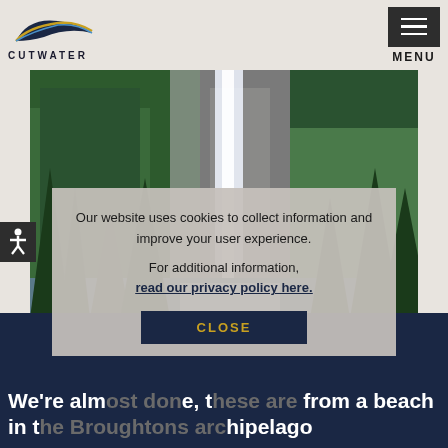[Figure (logo): Cutwater boats logo with stylized blue/gold boat hull shape above the text CUTWATER]
[Figure (other): Hamburger menu button (dark grey square with three horizontal white lines) and MENU label below]
[Figure (photo): Scenic photo of a tall waterfall cascading down a rocky cliff surrounded by dense green forest, with water in the foreground]
[Figure (other): Accessibility icon button on left edge]
Our website uses cookies to collect information and improve your user experience. For additional information, read our privacy policy here.
CLOSE
We're almost done, these are from a beach in the Broughtons archipelago